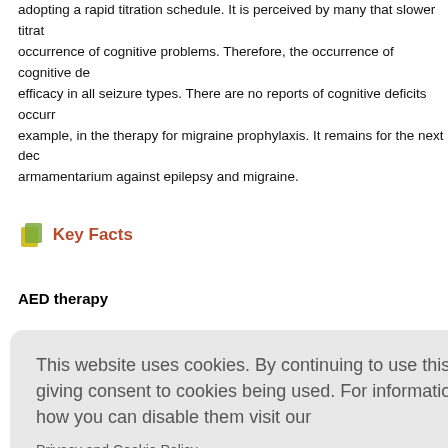adopting a rapid titration schedule. It is perceived by many that slower titration occurrence of cognitive problems. Therefore, the occurrence of cognitive de efficacy in all seizure types. There are no reports of cognitive deficits occurr example, in the therapy for migraine prophylaxis. It remains for the next dec armamentarium against epilepsy and migraine.
Key Facts
AED therapy
This website uses cookies. By continuing to use this website you are giving consent to cookies being used. For information on cookies and how you can disable them visit our
Privacy and Cookie Policy.
AGREE & PROCEED
f cognition
(CBZ) and
ay not be a
especially w Temporal